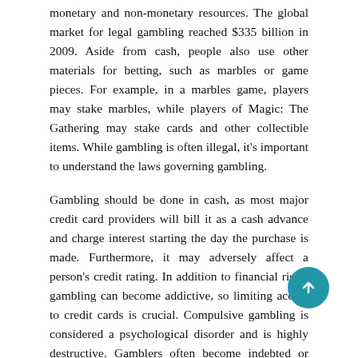monetary and non-monetary resources. The global market for legal gambling reached $335 billion in 2009. Aside from cash, people also use other materials for betting, such as marbles or game pieces. For example, in a marbles game, players may stake marbles, while players of Magic: The Gathering may stake cards and other collectible items. While gambling is often illegal, it's important to understand the laws governing gambling.
Gambling should be done in cash, as most major credit card providers will bill it as a cash advance and charge interest starting the day the purchase is made. Furthermore, it may adversely affect a person's credit rating. In addition to financial risks, gambling can become addictive, so limiting access to credit cards is crucial. Compulsive gambling is considered a psychological disorder and is highly destructive. Gamblers often become indebted or resort to criminal activities.
Those with an addiction to gambling should strengthen their support networks. They should reach out to friends, family members and coworkers, join a sports team, take an education course, volunteer, and join peer support groups. A group called Gamblers Anonymous is an excellent resource for those with gambling problems. This organization is modeled after Alcoholics Anonymous and follows...